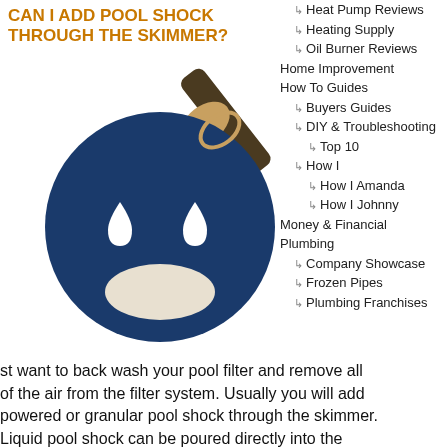CAN I ADD POOL SHOCK THROUGH THE SKIMMER?
[Figure (illustration): Icon of a dark blue circular pool shock container/bomb shape with two white water drops, and a pool skimmer handle attached at the top right]
Heat Pump Reviews
Heating Supply
Oil Burner Reviews
Home Improvement
How To Guides
Buyers Guides
DIY & Troubleshooting
Top 10
How I
How I Amanda
How I Johnny
Money & Financial
Plumbing
Company Showcase
Frozen Pipes
Plumbing Franchises
st want to back wash your pool filter and remove all of the air from the filter system. Usually you will add powered or granular pool shock through the skimmer. Liquid pool shock can be poured directly into the